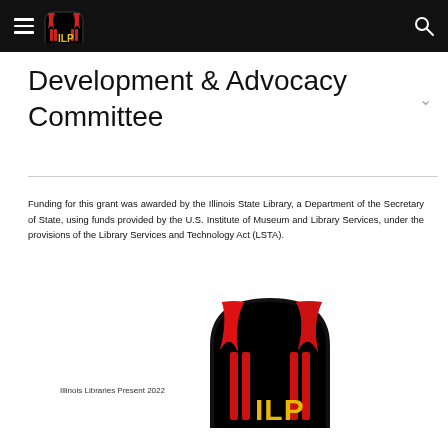ILP header navigation bar
Development & Advocacy Committee
Funding for this grant was awarded by the Illinois State Library, a Department of the Secretary of State, using funds provided by the U.S. Institute of Museum and Library Services, under the provisions of the Library Services and Technology Act (LSTA).
[Figure (logo): Illinois Libraries Present (ILP) logo — arched black background with red theater curtain graphic and yellow ILP text, with caption 'Illinois Libraries Present 2022']
Illinois Libraries Present 2022